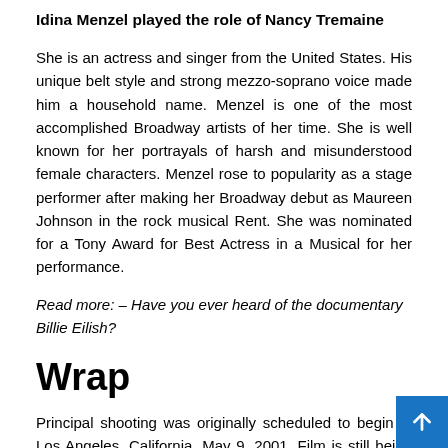Idina Menzel played the role of Nancy Tremaine
She is an actress and singer from the United States. His unique belt style and strong mezzo-soprano voice made him a household name. Menzel is one of the most accomplished Broadway artists of her time. She is well known for her portrayals of harsh and misunderstood female characters. Menzel rose to popularity as a stage performer after making her Broadway debut as Maureen Johnson in the rock musical Rent. She was nominated for a Tony Award for Best Actress in a Musical for her performance.
Read more: – Have you ever heard of the documentary Billie Eilish?
Wrap
Principal shooting was originally scheduled to begin in Los Angeles, California, May 9, 2001. Film is still being included...